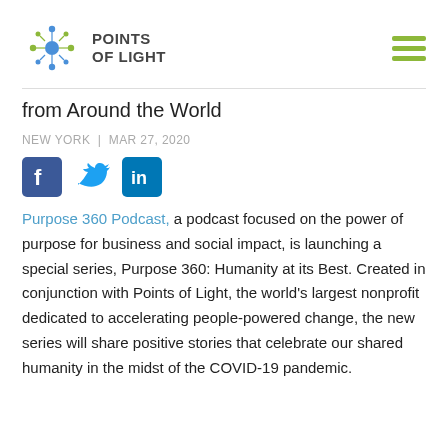[Figure (logo): Points of Light logo with star/dot graphic and bold text 'POINTS OF LIGHT']
from Around the World
NEW YORK  |  MAR 27, 2020
[Figure (infographic): Social media share icons: Facebook, Twitter, LinkedIn]
Purpose 360 Podcast, a podcast focused on the power of purpose for business and social impact, is launching a special series, Purpose 360: Humanity at its Best. Created in conjunction with Points of Light, the world's largest nonprofit dedicated to accelerating people-powered change, the new series will share positive stories that celebrate our shared humanity in the midst of the COVID-19 pandemic.